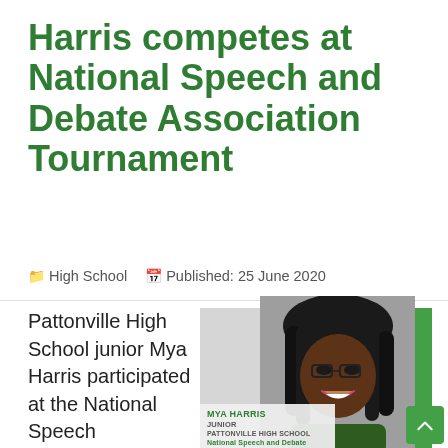Harris competes at National Speech and Debate Association Tournament
High School   Published: 25 June 2020
Pattonville High School junior Mya Harris participated at the National Speech
[Figure (photo): Portrait photo of Mya Harris, a high school junior with braided hair and glasses, wearing a dark green top, smiling against a gray background. Overlay card reads: MYA HARRIS / JUNIOR / PATTONVILLE HIGH SCHOOL / National Speech and Debate]